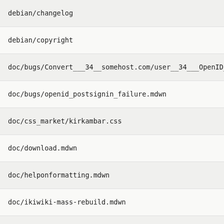debian/changelog
debian/copyright
doc/bugs/Convert___34__somehost.com/user__34___OpenID_at_Re
doc/bugs/openid_postsignin_failure.mdwn
doc/css_market/kirkambar.css
doc/download.mdwn
doc/helponformatting.mdwn
doc/ikiwiki-mass-rebuild.mdwn
doc/ikiwikiusers.mdwn
doc/news/openid.mdwn